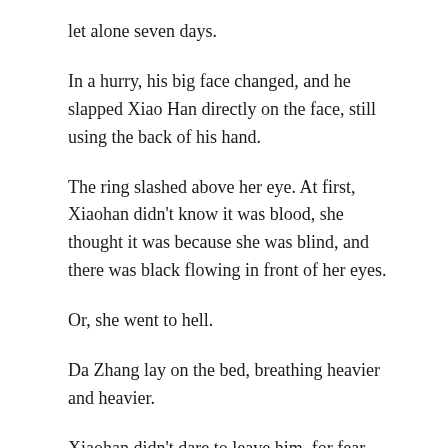let alone seven days.
In a hurry, his big face changed, and he slapped Xiao Han directly on the face, still using the back of his hand.
The ring slashed above her eye. At first, Xiaohan didn't know it was blood, she thought it was because she was blind, and there was black flowing in front of her eyes.
Or, she went to hell.
Da Zhang lay on the bed, breathing heavier and heavier.
Xiaohan didn't dare to leave him, for fear that he would yell at him, and if he didn't hear it, he would be furious and throw the things in his hand at him.
Da Zhang said, “the pill, the last three.”